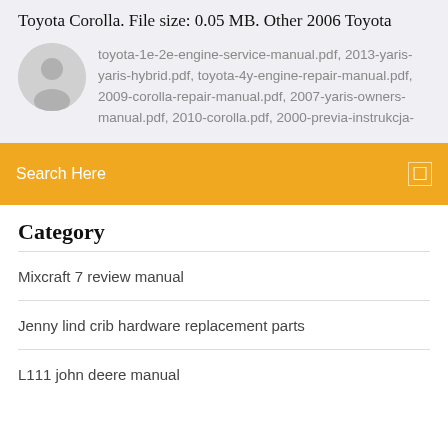Toyota Corolla. File size: 0.05 MB. Other 2006 Toyota
toyota-1e-2e-engine-service-manual.pdf, 2013-yaris-yaris-hybrid.pdf, toyota-4y-engine-repair-manual.pdf, 2009-corolla-repair-manual.pdf, 2007-yaris-owners-manual.pdf, 2010-corolla.pdf, 2000-previa-instrukcja-
Search Here
Category
Mixcraft 7 review manual
Jenny lind crib hardware replacement parts
L111 john deere manual